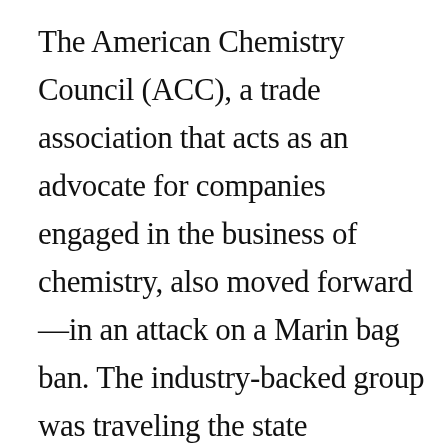The American Chemistry Council (ACC), a trade association that acts as an advocate for companies engaged in the business of chemistry, also moved forward—in an attack on a Marin bag ban. The industry-backed group was traveling the state mounting efforts to block bag bans in local jurisdictions. One of the most targeted